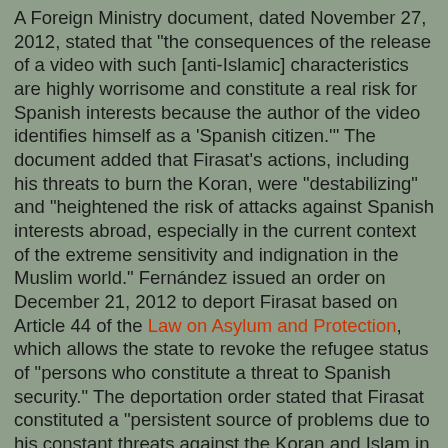A Foreign Ministry document, dated November 27, 2012, stated that "the consequences of the release of a video with such [anti-Islamic] characteristics are highly worrisome and constitute a real risk for Spanish interests because the author of the video identifies himself as a 'Spanish citizen.'" The document added that Firasat's actions, including his threats to burn the Koran, were "destabilizing" and "heightened the risk of attacks against Spanish interests abroad, especially in the current context of the extreme sensitivity and indignation in the Muslim world." Fernández issued an order on December 21, 2012 to deport Firasat based on Article 44 of the Law on Asylum and Protection, which allows the state to revoke the refugee status of "persons who constitute a threat to Spanish security." The deportation order stated that Firasat constituted a "persistent source of problems due to his constant threats against the Koran and Islam in general." Firasat appealed the deportation order at the National Court [Audiencia Nacional], arguing that the expression of his views about Islam fall within the constitutional right to free speech. But the National Court rejected Firasat's appeal. A ruling dated October 3, 2013...